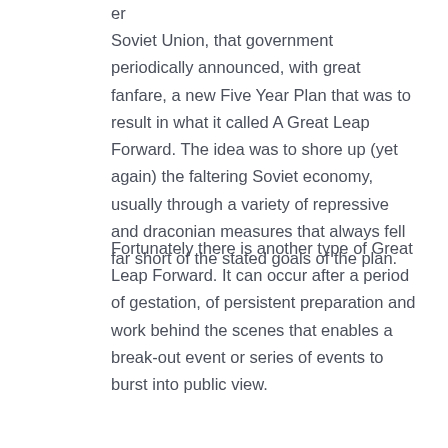er Soviet Union, that government periodically announced, with great fanfare, a new Five Year Plan that was to result in what it called A Great Leap Forward. The idea was to shore up (yet again) the faltering Soviet economy, usually through a variety of repressive and draconian measures that always fell far short of the stated goals of the plan.
Fortunately there is another type of Great Leap Forward. It can occur after a period of gestation, of persistent preparation and work behind the scenes that enables a break-out event or series of events to burst into public view.